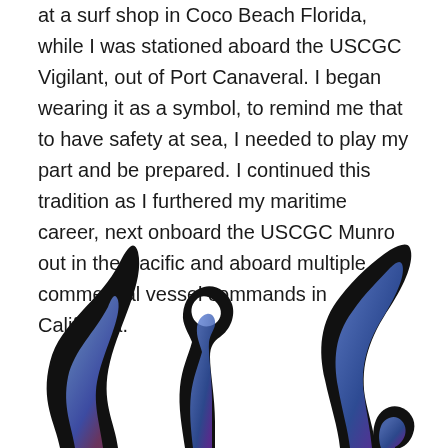at a surf shop in Coco Beach Florida, while I was stationed aboard the USCGC Vigilant, out of Port Canaveral. I began wearing it as a symbol, to remind me that to have safety at sea, I needed to play my part and be prepared. I continued this tradition as I furthered my maritime career, next onboard the USCGC Munro out in the Pacific and aboard multiple commercial vessel commands in California.
[Figure (illustration): Three black silhouette figures resembling stylized sea creatures or fins, each with a blue-purple gradient highlight detail. The left figure is a curved fin shape, the center figure has a loop at the top like a seahorse or hook shape, and the right figure is a pointed fin or flame shape with a smaller curved form at its base.]